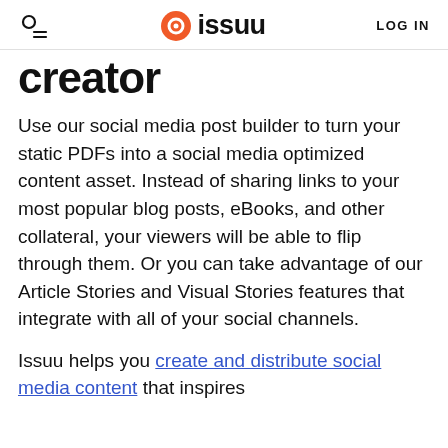issuu  LOG IN
creator
Use our social media post builder to turn your static PDFs into a social media optimized content asset. Instead of sharing links to your most popular blog posts, eBooks, and other collateral, your viewers will be able to flip through them. Or you can take advantage of our Article Stories and Visual Stories features that integrate with all of your social channels.
Issuu helps you create and distribute social media content that inspires